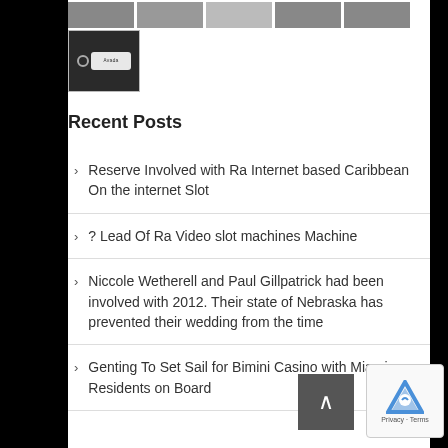[Figure (photo): Row of thumbnail images at top]
[Figure (photo): Single thumbnail image of a keychain tag with text]
Recent Posts
Reserve Involved with Ra Internet based Caribbean On the internet Slot
? Lead Of Ra Video slot machines Machine
Niccole Wetherell and Paul Gillpatrick had been involved with 2012. Their state of Nebraska has prevented their wedding from the time
Genting To Set Sail for Bimini Casino with Miami Residents on Board